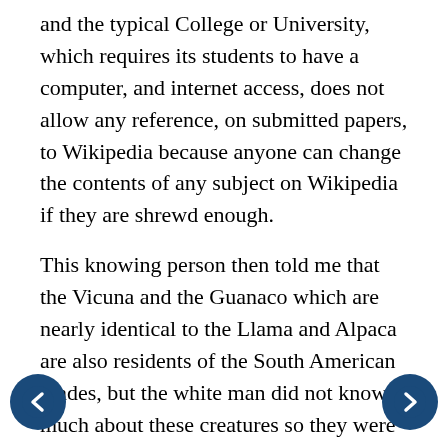and the typical College or University, which requires its students to have a computer, and internet access, does not allow any reference, on submitted papers, to Wikipedia because anyone can change the contents of any subject on Wikipedia if they are shrewd enough.
This knowing person then told me that the Vicuna and the Guanaco which are nearly identical to the Llama and Alpaca are also residents of the South American Andes, but the white man did not know much about these creatures so they were safe for the time being. They would probably not be imported to northern North America, or southern Northern America or the southern part of the great American North West of North America